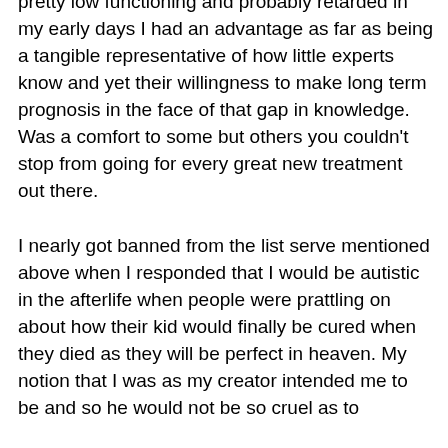immediately envisioned, Having been considered pretty low functioning and probably retarded in my early days I had an advantage as far as being a tangible representative of how little experts know and yet their willingness to make long term prognosis in the face of that gap in knowledge. Was a comfort to some but others you couldn't stop from going for every great new treatment out there.
I nearly got banned from the list serve mentioned above when I responded that I would be autistic in the afterlife when people were prattling on about how their kid would finally be cured when they died as they will be perfect in heaven. My notion that I was as my creator intended me to be and so he would not be so cruel as to